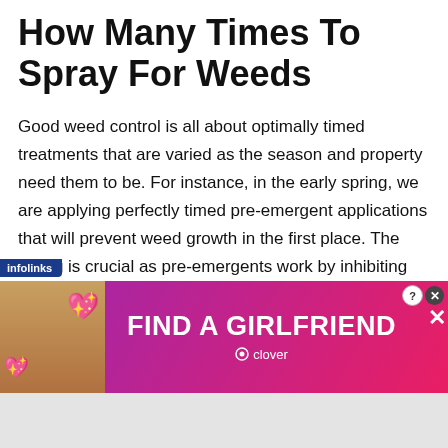How Many Times To Spray For Weeds
Good weed control is all about optimally timed treatments that are varied as the season and property need them to be. For instance, in the early spring, we are applying perfectly timed pre-emergent applications that will prevent weed growth in the first place. The timing is crucial as pre-emergents work by inhibiting germination .
[Figure (other): Search widget with 'Search for' placeholder and an eye icon, showing result: 1. CRABGRASS KILLER SPRAY with arrow]
[Figure (other): Infolinks advertisement banner: FIND A GIRLFRIEND - clover, with photo of blonde woman and heart emojis]